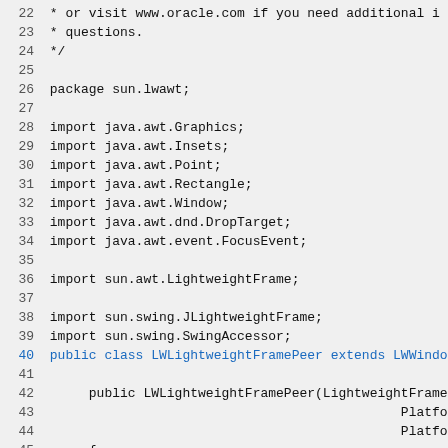Source code listing lines 22-50 of LWLightweightFramePeer.java
22  * or visit www.oracle.com if you need additional i
23  * questions.
24  */
25
26 package sun.lwawt;
27
28 import java.awt.Graphics;
29 import java.awt.Insets;
30 import java.awt.Point;
31 import java.awt.Rectangle;
32 import java.awt.Window;
33 import java.awt.dnd.DropTarget;
34 import java.awt.event.FocusEvent;
35
36 import sun.awt.LightweightFrame;
37
38 import sun.swing.JLightweightFrame;
39  import sun.swing.SwingAccessor;
40 public class LWLightweightFramePeer extends LWWindo
41
42      public LWLightweightFramePeer(LightweightFrame
43                                              PlatformComponent
44                                              PlatformWindow pl
45      {
46           super(target, platformComponent, platformWi
47      }
48
49      private LightweightFrame getLwTarget() {
50           return (LightweightFrame)getTarget();